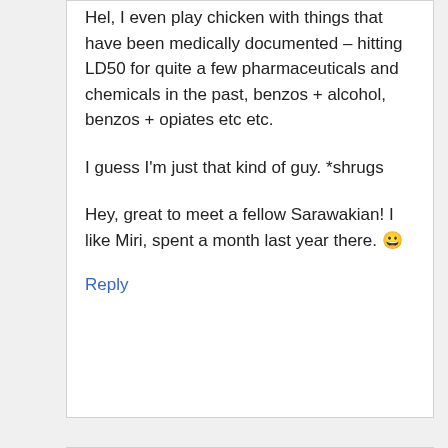Hel, I even play chicken with things that have been medically documented – hitting LD50 for quite a few pharmaceuticals and chemicals in the past, benzos + alcohol, benzos + opiates etc etc.
I guess I'm just that kind of guy. *shrugs
Hey, great to meet a fellow Sarawakian! I like Miri, spent a month last year there. 😀
Reply